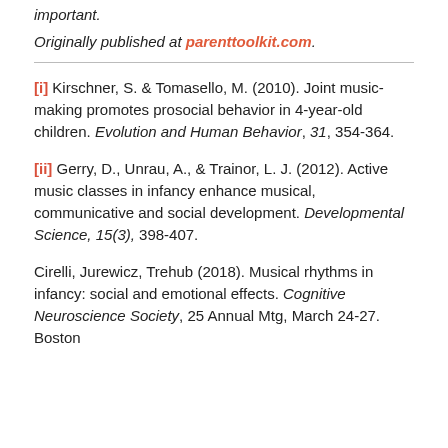important.
Originally published at parenttoolkit.com.
[i] Kirschner, S. & Tomasello, M. (2010). Joint music-making promotes prosocial behavior in 4-year-old children. Evolution and Human Behavior, 31, 354-364.
[ii] Gerry, D., Unrau, A., & Trainor, L. J. (2012). Active music classes in infancy enhance musical, communicative and social development. Developmental Science, 15(3), 398-407.
Cirelli, Jurewicz, Trehub (2018). Musical rhythms in infancy: social and emotional effects. Cognitive Neuroscience Society, 25 Annual Mtg, March 24-27. Boston